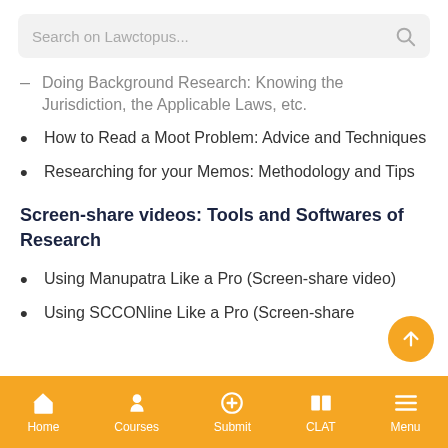Search on Lawctopus...
Doing Background Research: Knowing the Jurisdiction, the Applicable Laws, etc.
How to Read a Moot Problem: Advice and Techniques
Researching for your Memos: Methodology and Tips
Screen-share videos: Tools and Softwares of Research
Using Manupatra Like a Pro (Screen-share video)
Using SCCONline Like a Pro (Screen-share
Home   Courses   Submit   CLAT   Menu